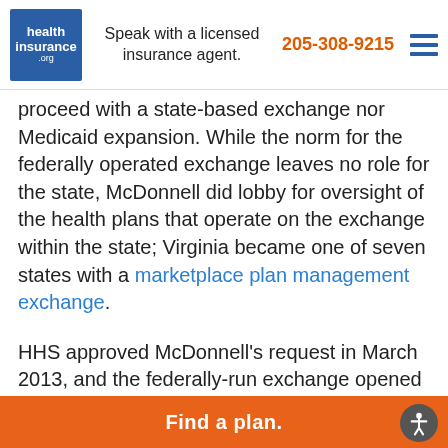health insurance .org | Speak with a licensed insurance agent. | 205-308-9215
proceed with a state-based exchange nor Medicaid expansion. While the norm for the federally operated exchange leaves no role for the state, McDonnell did lobby for oversight of the health plans that operate on the exchange within the state; Virginia became one of seven states with a marketplace plan management exchange.
HHS approved McDonnell’s request in March 2013, and the federally-run exchange opened for business in October 2013, with health plans overseen by the state Division of Insurance.
Although Virginia uses the HealthCare.gov enrollment platform, the state has a website…
Find a plan.